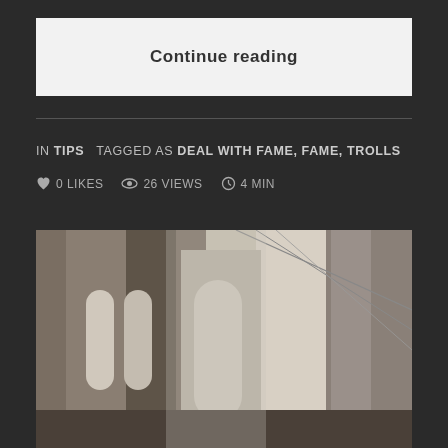Continue reading
IN TIPS   TAGGED AS DEAL WITH FAME, FAME, TROLLS
0 LIKES   26 VIEWS   4 MIN
[Figure (photo): Black and white photograph of a large stone bridge tower with Gothic arches, cables visible in the upper right — appears to be the Brooklyn Bridge, taken from below looking up]